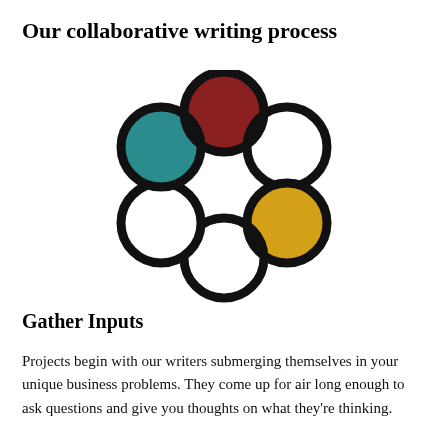Our collaborative writing process
[Figure (illustration): A circular arrangement of six overlapping rings forming a wreath/chain pattern. Three rings are outlined in black (hollow), one is filled dark red/crimson (top), one is filled teal (left), and one is filled golden yellow (bottom-right).]
Gather Inputs
Projects begin with our writers submerging themselves in your unique business problems. They come up for air long enough to ask questions and give you thoughts on what they're thinking.